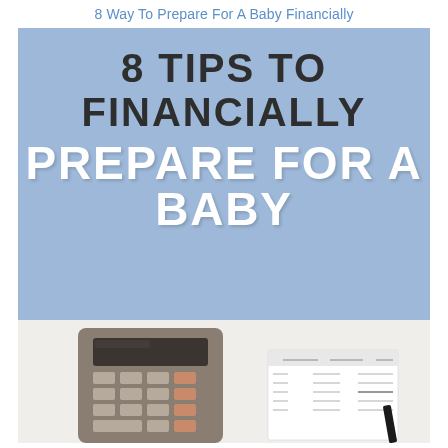8 Way To Prepare For A Baby Financially
[Figure (infographic): Infographic with blue background showing text '8 TIPS TO FINANCIALLY PREPARE FOR A BABY' in bold dark and white brush-style lettering, with a photo of a calculator and financial notepad at the bottom]